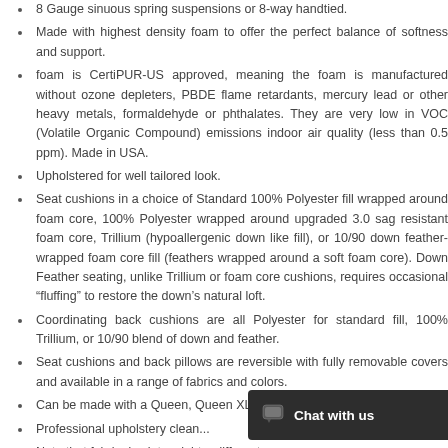8 Gauge sinuous spring suspensions or 8-way handtied.
Made with highest density foam to offer the perfect balance of softness and support.
foam is CertiPUR-US approved, meaning the foam is manufactured without ozone depleters, PBDE flame retardants, mercury lead or other heavy metals, formaldehyde or phthalates. They are very low in VOC (Volatile Organic Compound) emissions indoor air quality (less than 0.5 ppm). Made in USA.
Upholstered for well tailored look.
Seat cushions in a choice of Standard 100% Polyester fill wrapped around foam core, 100% Polyester wrapped around upgraded 3.0 sag resistant foam core, Trillium (hypoallergenic down like fill), or 10/90 down feather-wrapped foam core fill (feathers wrapped around a soft foam core). Down Feather seating, unlike Trillium or foam core cushions, requires occasional “fluffing” to restore the down’s natural loft.
Coordinating back cushions are all Polyester for standard fill, 100% Trillium, or 10/90 blend of down and feather.
Seat cushions and back pillows are reversible with fully removable covers and available in a range of fabrics and colors.
Can be made with a Queen, Queen XL, or Twin size sleeper.
Professional upholstery clean...
Note that fabric dye lots might... different